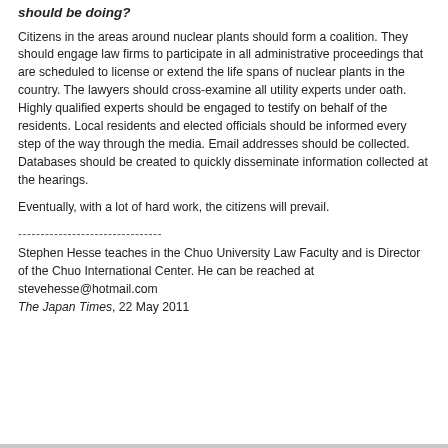should be doing?
Citizens in the areas around nuclear plants should form a coalition. They should engage law firms to participate in all administrative proceedings that are scheduled to license or extend the life spans of nuclear plants in the country. The lawyers should cross-examine all utility experts under oath. Highly qualified experts should be engaged to testify on behalf of the residents. Local residents and elected officials should be informed every step of the way through the media. Email addresses should be collected. Databases should be created to quickly disseminate information collected at the hearings.
Eventually, with a lot of hard work, the citizens will prevail.
--------------------------------
Stephen Hesse teaches in the Chuo University Law Faculty and is Director of the Chuo International Center. He can be reached at stevehesse@hotmail.com
The Japan Times, 22 May 2011